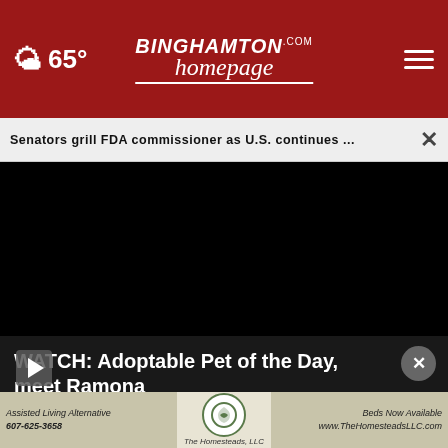65° Binghamton Homepage
Senators grill FDA commissioner as U.S. continues ...
[Figure (screenshot): Black video player area showing a paused or loading video]
WATCH: Adoptable Pet of the Day, meet Ramona
[Figure (photo): Advertisement banner for The Homesteads LLC assisted living alternative, phone 607-625-3658, beds now available at www.TheHomesteadsLLC.com]